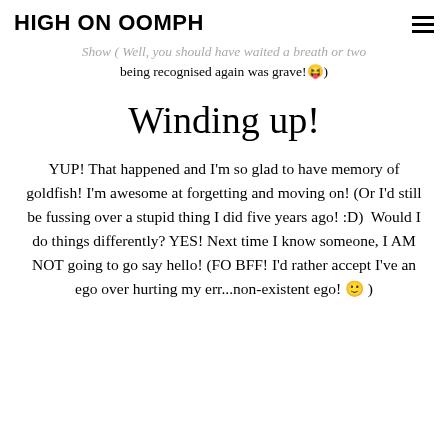HIGH ON OOMPH
Show ( Well, you should have waited a breath or two being recognised again was grave! 😜)
Winding up!
YUP! That happened and I'm so glad to have memory of goldfish! I'm awesome at forgetting and moving on! (Or I'd still be fussing over a stupid thing I did five years ago! :D)  Would I do things differently? YES! Next time I know someone, I AM NOT going to go say hello! (FO BFF! I'd rather accept I've an ego over hurting my err...non-existent ego! 😊 )